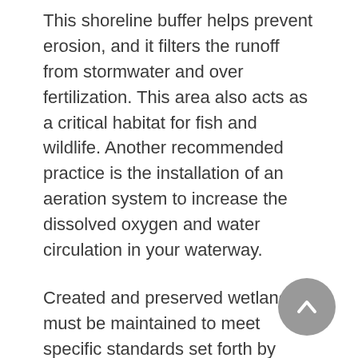This shoreline buffer helps prevent erosion, and it filters the runoff from stormwater and over fertilization. This area also acts as a critical habitat for fish and wildlife. Another recommended practice is the installation of an aeration system to increase the dissolved oxygen and water circulation in your waterway.
Created and preserved wetlands must be maintained to meet specific standards set forth by federal, state, county, and city regulations. Because they are to be preserved and allowed to grow unhindered, these areas cannot be cut, trimmed, or manicured like landscaped areas.
Another exciting best practice added to Lake & Wetland's service list comes with the addition of Weedoo® Workboats. These workboats provide the